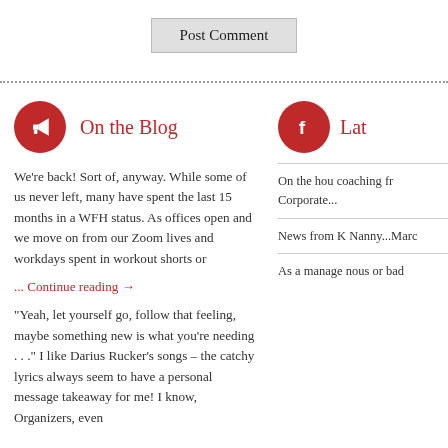Post Comment
On the Blog
We're back! Sort of, anyway. While some of us never left, many have spent the last 15 months in a WFH status. As offices open and we move on from our Zoom lives and workdays spent in workout shorts or
... Continue reading →
"Yeah, let yourself go, follow that feeling, maybe something new is what you're needing . . ." I like Darius Rucker's songs – the catchy lyrics always seem to have a personal message takeaway for me! I know, Organizers, even
Lat
On the hou coaching fr Corporate...
News from K Nanny...Marc
As a manage nous or bad